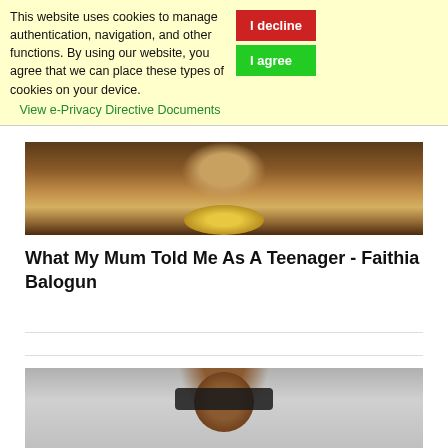This website uses cookies to manage authentication, navigation, and other functions. By using our website, you agree that we can place these types of cookies on your device.
View e-Privacy Directive Documents
[Figure (photo): Close-up of a woman in a gold embroidered dress with a gold necklace visible at the neckline]
What My Mum Told Me As A Teenager - Faithia Balogun
[Figure (photo): A man wearing sunglasses against a light grey background, shown from shoulders up]